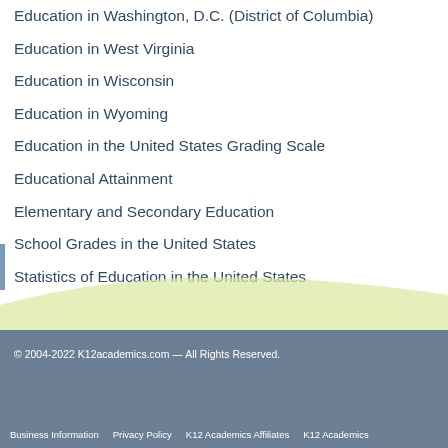Education in Washington, D.C. (District of Columbia)
Education in West Virginia
Education in Wisconsin
Education in Wyoming
Education in the United States Grading Scale
Educational Attainment
Elementary and Secondary Education
School Grades in the United States
Statistics of Education in the United States
© 2004-2022 K12academics.com — All Rights Reserved.
Business Information    Privacy Policy    K12 Academics Affiliates    K12 Academics